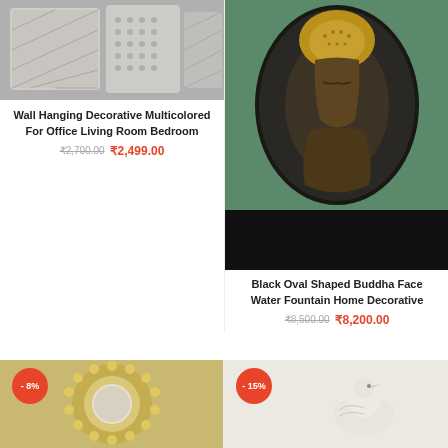[Figure (photo): Decorative throw pillows with geometric patterns in grey and white on a sofa]
Wall Hanging Decorative Multicolored For Office Living Room Bedroom
₹2,700.00 ₹2,499.00
[Figure (photo): Black oval shaped Buddha face water fountain home decorative sculpture on green surface]
Black Oval Shaped Buddha Face Water Fountain Home Decorative
₹8,500.00 ₹8,200.00
[Figure (photo): Gold sunburst decorative mirror with ball details, discount badge -8%]
[Figure (photo): White bird figurine on pink/peach background, discount badge -15%]